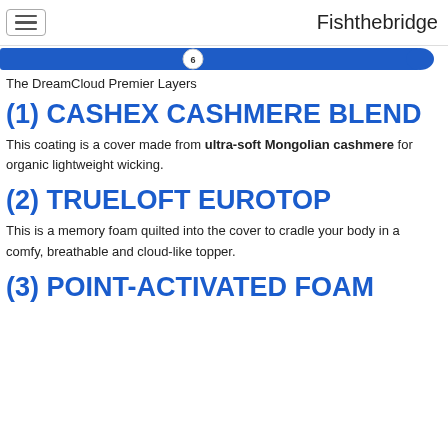Fishthebridge
[Figure (other): A horizontal blue slider/progress bar with a white circle marker labeled '6' at approximately 43% position, and a rounded right end]
The DreamCloud Premier Layers
(1) CASHEX CASHMERE BLEND
This coating is a cover made from ultra-soft Mongolian cashmere for organic lightweight wicking.
(2) TRUELOFT EUROTOP
This is a memory foam quilted into the cover to cradle your body in a comfy, breathable and cloud-like topper.
(3) POINT-ACTIVATED FOAM